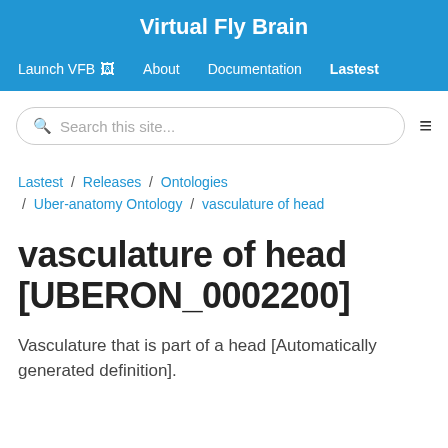Virtual Fly Brain
Launch VFB  About  Documentation  Lastest
Search this site...
Lastest / Releases / Ontologies / Uber-anatomy Ontology / vasculature of head
vasculature of head [UBERON_0002200]
Vasculature that is part of a head [Automatically generated definition].